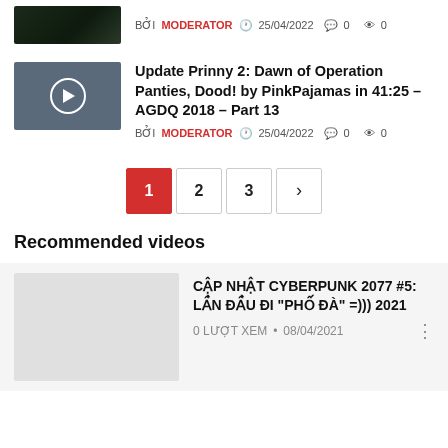[Figure (screenshot): Partial thumbnail of dark video screenshot at top]
BỞI MODERATOR  25/04/2022  0  0
[Figure (screenshot): Video thumbnail with play button circle overlay]
Update Prinny 2: Dawn of Operation Panties, Dood! by PinkPajamas in 41:25 – AGDQ 2018 – Part 13
BỞI MODERATOR  25/04/2022  0  0
1
2
3
>
Recommended videos
[Figure (screenshot): Light gray blank video thumbnail]
CẬP NHẬT CYBERPUNK 2077 #5: LẦN ĐẦU ĐI "PHỐ ĐÀ" =))) 2021
0 LƯỢT XEM  •  08/04/2021